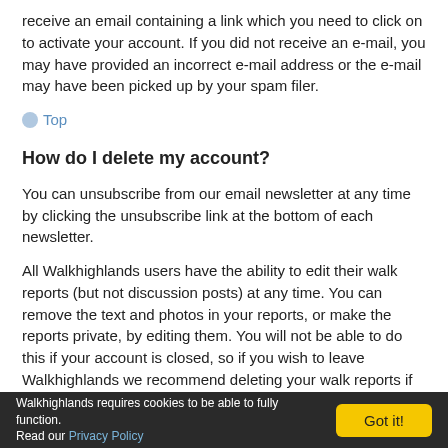receive an email containing a link which you need to click on to activate your account. If you did not receive an e-mail, you may have provided an incorrect e-mail address or the e-mail may have been picked up by your spam filer.
Top
How do I delete my account?
You can unsubscribe from our email newsletter at any time by clicking the unsubscribe link at the bottom of each newsletter.
All Walkhighlands users have the ability to edit their walk reports (but not discussion posts) at any time. You can remove the text and photos in your reports, or make the reports private, by editing them. You will not be able to do this if your account is closed, so if you wish to leave Walkhighlands we recommend deleting your walk reports if you wish to do so and then simply ceasing to use it. Walkhighlands does not sell any data, and has a policy of gathering no personal data that is not needed to function. See our privacy policy link at the bottom of every page.
If you have made posts on the discussion forum, then to preserve the integrity of public discussions and enable us to continue to detect
Walkhighlands requires cookies to be able to fully function. Read our Privacy Policy